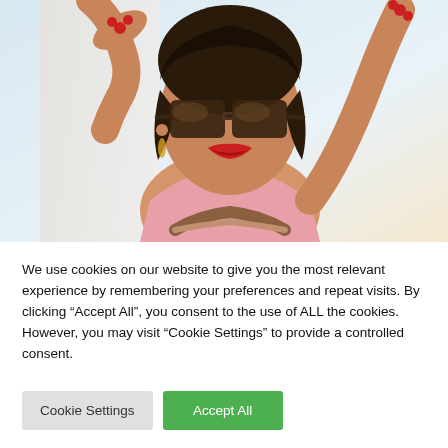[Figure (photo): Photo of a young woman with dark hair, wearing large brown sunglasses and a pink top, smiling, with her arms raised near a white wall. Bright, summery, fashion-style photo.]
We use cookies on our website to give you the most relevant experience by remembering your preferences and repeat visits. By clicking “Accept All”, you consent to the use of ALL the cookies. However, you may visit "Cookie Settings" to provide a controlled consent.
Cookie Settings
Accept All